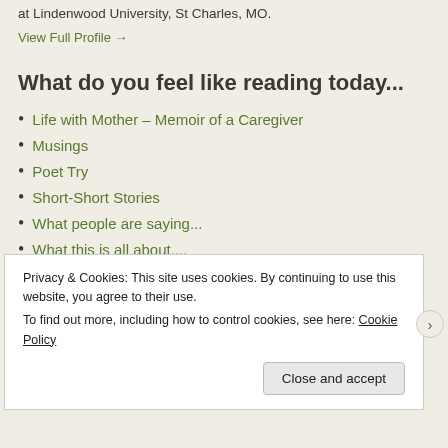at Lindenwood University, St Charles, MO.
View Full Profile →
What do you feel like reading today...
Life with Mother – Memoir of a Caregiver
Musings
Poet Try
Short-Short Stories
What people are saying...
What this is all about....
recent posts
Privacy & Cookies: This site uses cookies. By continuing to use this website, you agree to their use. To find out more, including how to control cookies, see here: Cookie Policy
Close and accept